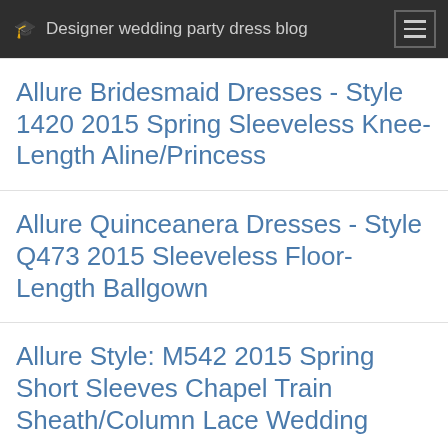Designer wedding party dress blog
Allure Bridesmaid Dresses - Style 1420 2015 Spring Sleeveless Knee-Length Aline/Princess
Allure Quinceanera Dresses - Style Q473 2015 Sleeveless Floor-Length Ballgown
Allure Style: M542 2015 Spring Short Sleeves Chapel Train Sheath/Column Lace Wedding